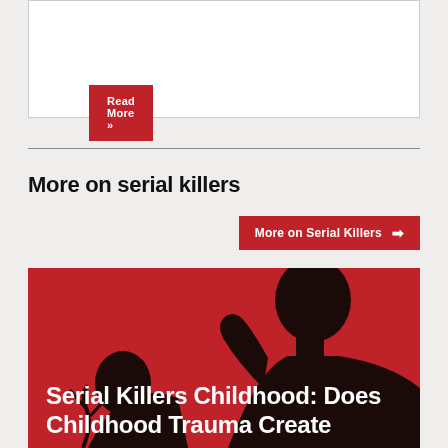Read More »
More on serial killers
More on Serial Killers →
[Figure (photo): Red background with dark silhouette of a person, overlaid with bold white text reading 'Serial Killers Childhood: Does Childhood Trauma Create']
Serial Killers Childhood: Does Childhood Trauma Create